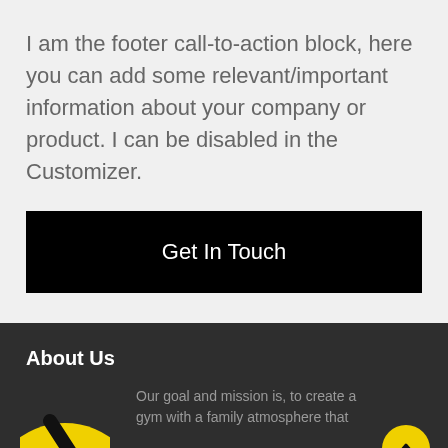I am the footer call-to-action block, here you can add some relevant/important information about your company or product. I can be disabled in the Customizer.
Get In Touch
About Us
[Figure (logo): Partial yellow and black circular logo/emblem, partially visible at bottom left]
Our goal and mission is, to create a gym with a family atmosphere that...